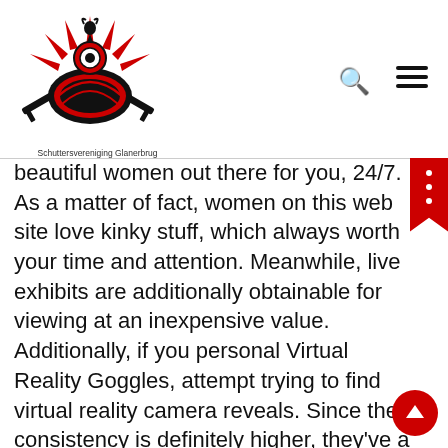[Figure (logo): Schuttersvereniging Glanerbrug shooting club logo — black and red emblem with rifles, target, and rooster, with text 'Schuttersvereniging Glanerbrug' below]
beautiful women out there for you, 24/7. As a matter of fact, women on this web site love kinky stuff, which always worth your time and attention. Meanwhile, live exhibits are additionally obtainable for viewing at an inexpensive value. Additionally, if you personal Virtual Reality Goggles, attempt trying to find virtual reality camera reveals. Since the consistency is definitely higher, they've a